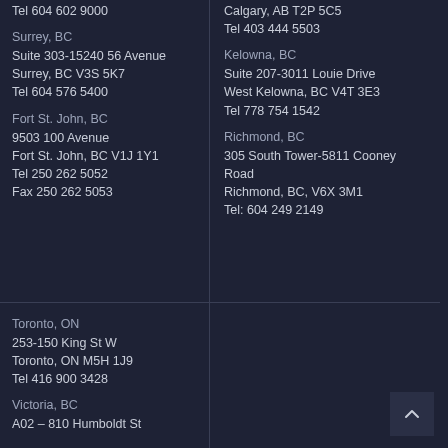Tel 604 602 9000
Surrey, BC
Suite 303-15240 56 Avenue
Surrey, BC V3S 5K7
Tel 604 576 5400
Fort St. John, BC
9503 100 Avenue
Fort St. John, BC V1J 1Y1
Tel 250 262 5052
Fax 250 262 5053
Calgary, AB T2P 5C5
Tel 403 444 5503
Kelowna, BC
Suite 207-3011 Louie Drive
West Kelowna, BC V4T 3E3
Tel 778 754 1542
Richmond, BC
305 South Tower-5811 Cooney Road
Richmond, BC, V6X 3M1
Tel: 604 249 2149
Toronto, ON
253-150 King St W
Toronto, ON M5H 1J9
Tel 416 900 3428
Victoria, BC
A02 – 810 Humboldt St